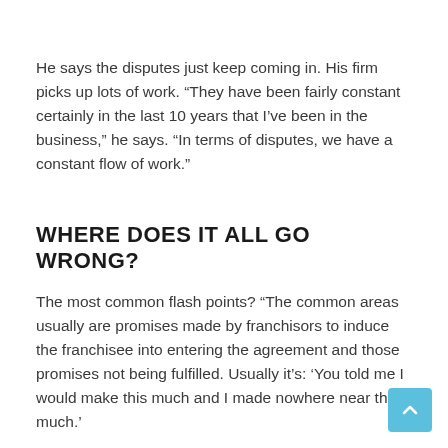He says the disputes just keep coming in. His firm picks up lots of work. “They have been fairly constant certainly in the last 10 years that I’ve been in the business,” he says. “In terms of disputes, we have a constant flow of work.”
WHERE DOES IT ALL GO WRONG?
The most common flash points? “The common areas usually are promises made by franchisors to induce the franchisee into entering the agreement and those promises not being fulfilled. Usually it’s: ‘You told me I would make this much and I made nowhere near that much.’